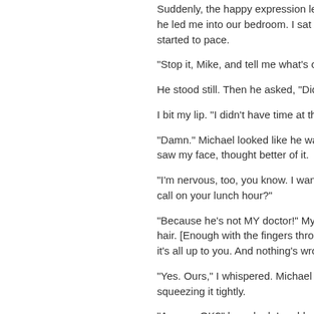Suddenly, the happy expression left Mich he led me into our bedroom. I sat on the started to pace.
"Stop it, Mike, and tell me what's on your
He stood still. Then he asked, "Did you c
I bit my lip. "I didn't have time at the offic
"Damn." Michael looked like he was abo saw my face, thought better of it.
"I'm nervous, too, you know. I want to kn call on your lunch hour?"
"Because he's not MY doctor!" My husba hair. [Enough with the fingers through the it's all up to you. And nothing's wrong wit
"Yes. Ours," I whispered. Michael sat be squeezing it tightly.
"Are you OK?" he asked. I nodded, not lo
"I'm fine. Really, I'm just tired," I lied.
"Alright." He didn't look convinced, but he